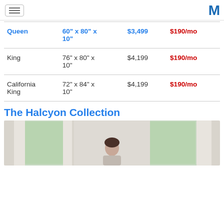[Menu icon] [M logo]
| Size | Dimensions | Price | Monthly |
| --- | --- | --- | --- |
| Queen | 60" x 80" x 10" | $3,499 | $190/mo |
| King | 76" x 80" x 10" | $4,199 | $190/mo |
| California King | 72" x 84" x 10" | $4,199 | $190/mo |
The Halcyon Collection
[Figure (photo): A person in a bright room with windows and curtains, appearing to be on or near a bed]